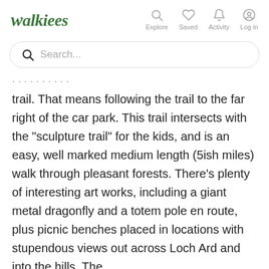[Figure (logo): Walkiees logo in dark green italic serif font with navigation icons: Explore, Saved, Activity, Log in]
[Figure (screenshot): Search bar with magnifying glass icon and placeholder text 'Search...']
trail. That means following the trail to the far right of the car park. This trail intersects with the "sculpture trail" for the kids, and is an easy, well marked medium length (5ish miles) walk through pleasant forests. There's plenty of interesting art works, including a giant metal dragonfly and a totem pole en route, plus picnic benches placed in locations with stupendous views out across Loch Ard and into the hills. The